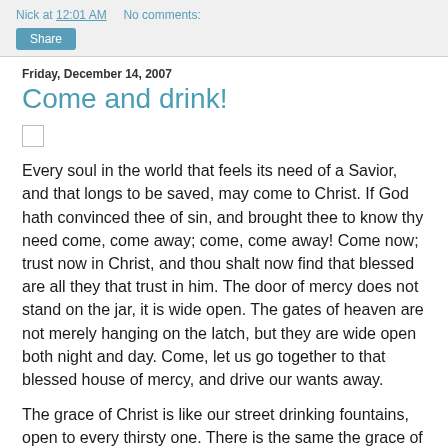Nick at 12:01 AM   No comments:
Friday, December 14, 2007
Come and drink!
Every soul in the world that feels its need of a Savior, and that longs to be saved, may come to Christ. If God hath convinced thee of sin, and brought thee to know thy need come, come away; come, come away! Come now; trust now in Christ, and thou shalt now find that blessed are all they that trust in him. The door of mercy does not stand on the jar, it is wide open. The gates of heaven are not merely hanging on the latch, but they are wide open both night and day. Come, let us go together to that blessed house of mercy, and drive our wants away.
The grace of Christ is like our street drinking fountains, open to every thirsty one. There is the same the grace of faith...